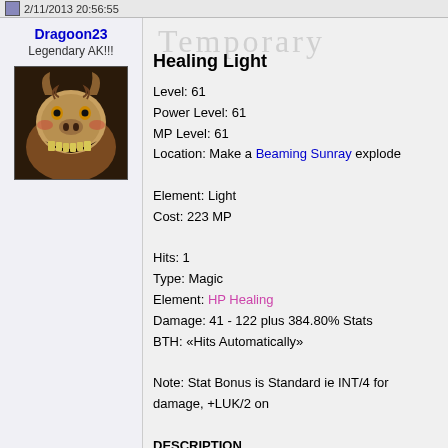2/11/2013 20:56:55
Dragoon23
Legendary AK!!!
[Figure (photo): Avatar image of a demonic grinning creature with sharp teeth]
Healing Light
Level: 61
Power Level: 61
MP Level: 61
Location: Make a Beaming Sunray explode

Element: Light
Cost: 223 MP

Hits: 1
Type: Magic
Element: HP Healing
Damage: 41 - 122 plus 384.80% Stats
BTH: «Hits Automatically»

Note: Stat Bonus is Standard ie INT/4 for damage, +LUK/2 on

DESCRIPTION
Cast this spell to regain some HP. It's the perfect thing to light ight, after fighting monsters that didn't give up the bark and the temporary level «Power Level» spell.)
[Figure (screenshot): Game screenshot showing green clovers, red plus sign, 'Magic' text, and '-1015' damage number on dark background]